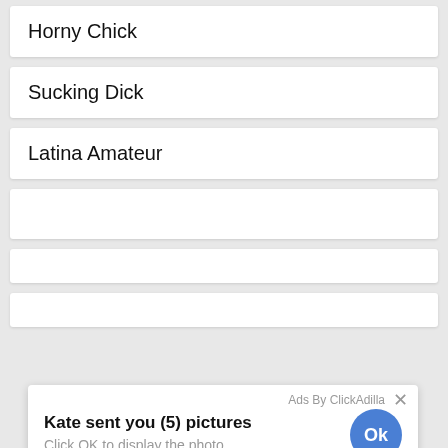Horny Chick
Sucking Dick
Latina Amateur
[Figure (screenshot): Ad overlay from ClickAdilla showing 'Kate sent you (5) pictures' with a blue Ok button and large blue circular Ok button below.]